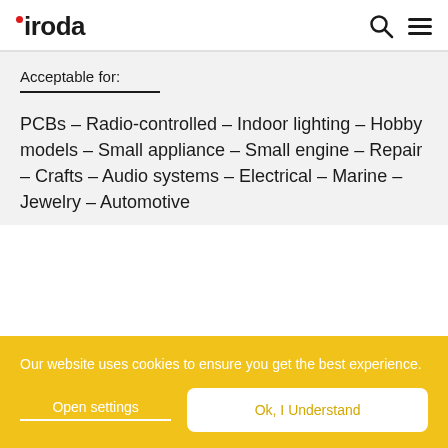iroda
Acceptable for:
PCBs – Radio-controlled – Indoor lighting – Hobby models – Small appliance – Small engine – Repair – Crafts – Audio systems – Electrical – Marine – Jewelry – Automotive
Our website uses cookies to ensure you get the best experience.
Open settings
Ok, I Understand